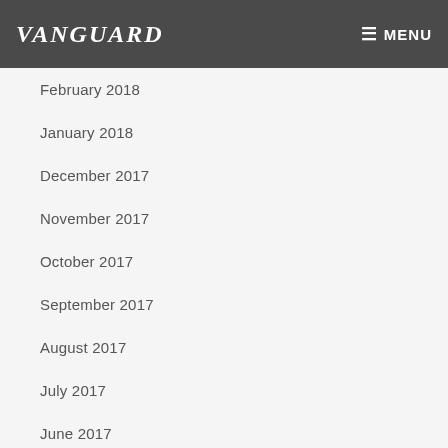VANGUARD  MENU
February 2018
January 2018
December 2017
November 2017
October 2017
September 2017
August 2017
July 2017
June 2017
May 2017
April 2017
March 2017
February 2017
December 2016